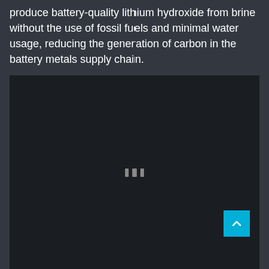produce battery-quality lithium hydroxide from brine without the use of fossil fuels and minimal water usage, reducing the generation of carbon in the battery metals supply chain.
[Figure (photo): Dark/black image area, nearly completely dark, with three small rectangular loading indicator dots centered in the frame. A cyan/teal scroll-to-top button appears in the lower-right corner of the image block.]